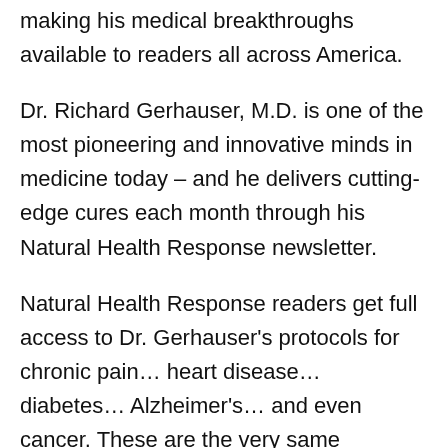making his medical breakthroughs available to readers all across America.
Dr. Richard Gerhauser, M.D. is one of the most pioneering and innovative minds in medicine today – and he delivers cutting-edge cures each month through his Natural Health Response newsletter.
Natural Health Response readers get full access to Dr. Gerhauser's protocols for chronic pain… heart disease… diabetes… Alzheimer's… and even cancer. These are the very same treatments Dr. Gerhauser recommends to his own patients at his practice in Tucson, Arizona.